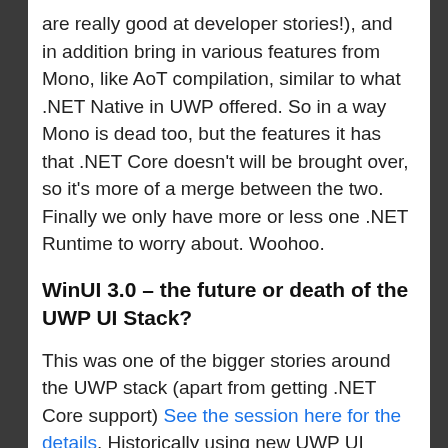are really good at developer stories!), and in addition bring in various features from Mono, like AoT compilation, similar to what .NET Native in UWP offered. So in a way Mono is dead too, but the features it has that .NET Core doesn't will be brought over, so it's more of a merge between the two. Finally we only have more or less one .NET Runtime to worry about. Woohoo.
WinUI 3.0 – the future or death of the UWP UI Stack?
This was one of the bigger stories around the UWP stack (apart from getting .NET Core support) See the session here for the details. Historically using new UWP UI Features has been a really big problem. Let's say you want to use Xaml Islands in UWP. It just went final in